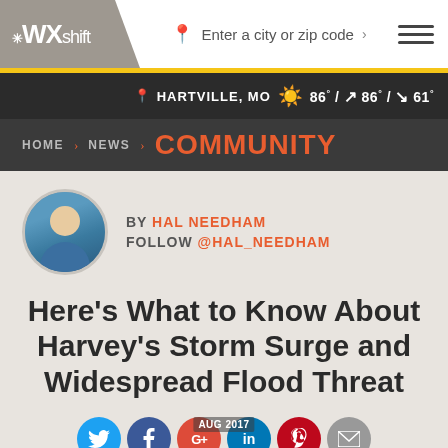WX shift — Enter a city or zip code
HARTVILLE, MO  86° / 86° / 61°
HOME > NEWS > COMMUNITY
[Figure (photo): Circular avatar photo of author Hal Needham]
BY HAL NEEDHAM
FOLLOW @HAL_NEEDHAM
Here’s What to Know About Harvey’s Storm Surge and Widespread Flood Threat
AUG 2017
[Figure (infographic): Social share icons: Twitter, Facebook, Google+, LinkedIn, Pinterest, Email]